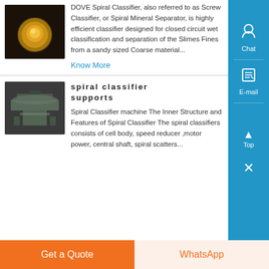[Figure (photo): Close-up photo of a gold/bronze colored round object (spiral classifier part) on dark background]
DOVE Spiral Classifier, also referred to as Screw Classifier, or Spiral Mineral Separator, is highly efficient classifier designed for closed circuit wet classification and separation of the Slimes Fines from a sandy sized Coarse material...
Know More
spiral classifier supports
[Figure (photo): Photo of industrial spiral classifier machine showing inner structure]
Spiral Classifier machine The Inner Structure and Features of Spiral Classifier The spiral classifiers consists of cell body, speed reducer ,motor power, central shaft, spiral scatters...
Get a Quote
WhatsApp